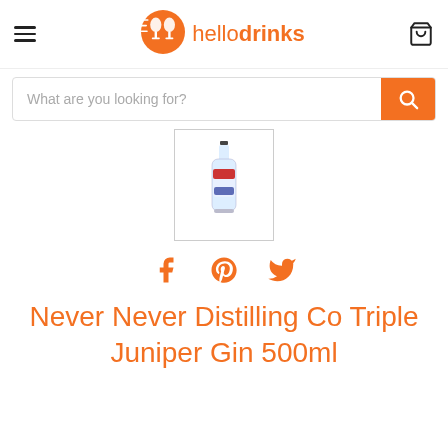hellodrinks
What are you looking for?
[Figure (photo): A bottle of Never Never Distilling Co Triple Juniper Gin 500ml shown as a product thumbnail]
[Figure (infographic): Social share icons: Facebook, Pinterest, Twitter in orange]
Never Never Distilling Co Triple Juniper Gin 500ml